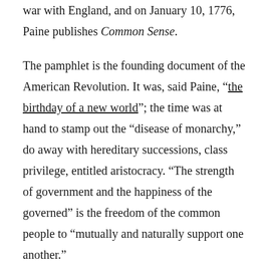war with England, and on January 10, 1776, Paine publishes Common Sense.
The pamphlet is the founding document of the American Revolution. It was, said Paine, “the birthday of a new world”; the time was at hand to stamp out the “disease of monarchy,” do away with hereditary successions, class privilege, entitled aristocracy. “The strength of government and the happiness of the governed” is the freedom of the common people to “mutually and naturally support one another.”
Common Sense ran through printings of 150,000 copies in six months, roused out everywhere in the colonies the turbulent passion for independence. The raucous